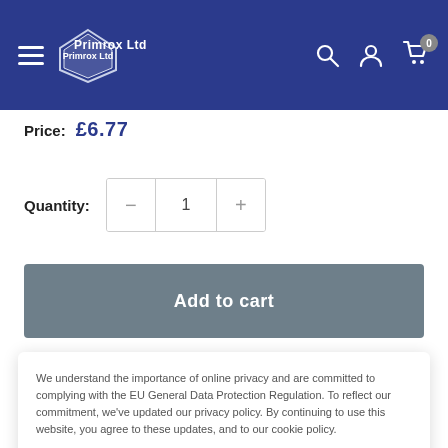Primrox Ltd navigation header with hamburger menu, logo, search, account, and cart icons
Price: £6.77
Quantity: 1
Add to cart
We understand the importance of online privacy and are committed to complying with the EU General Data Protection Regulation. To reflect our commitment, we've updated our privacy policy. By continuing to use this website, you agree to these updates, and to our cookie policy.
Accept
Description